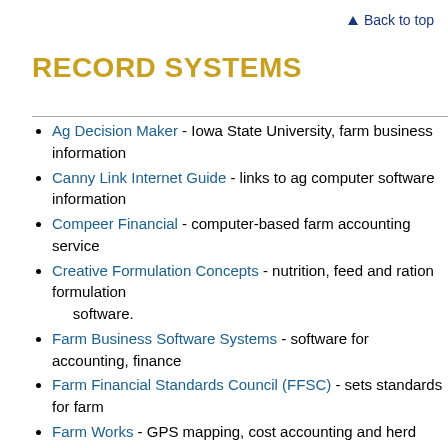Back to top
RECORD SYSTEMS
Ag Decision Maker - Iowa State University, farm business information
Canny Link Internet Guide - links to ag computer software information
Compeer Financial - computer-based farm accounting service
Creative Formulation Concepts - nutrition, feed and ration formulation software.
Farm Business Software Systems - software for accounting, financial
Farm Financial Standards Council (FFSC) - sets standards for farm
Farm Works - GPS mapping, cost accounting and herd management
FINPACK - University of Minnesota computerized farm planning system
Flagship Technologies - add-on software for Quicken and QuickBooks
Intuit QuickBooks - general cash and accrual accounting systems
Intuit Quicken - simple cash accounting systems
Iowa Farm Business Association
IRS Publications - tax information for businesses
PCMars - Iowa Farm Business Association farm accounting software
Red Hen Systems, LLC - site specific ag software, precision ag software